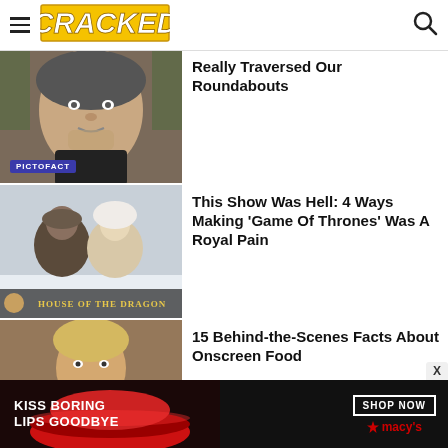CRACKED
Really Traversed Our Roundabouts
[Figure (photo): Close-up of a middle-aged man in a dark jacket, PICTOFACT badge in lower left]
This Show Was Hell: 4 Ways Making 'Game Of Thrones' Was A Royal Pain
[Figure (photo): Two Game of Thrones characters in winter fur, HOUSE OF THE DRAGON badge]
15 Behind-the-Scenes Facts About Onscreen Food
[Figure (photo): Young blonde man eating from a spoon, blurred indoor background]
[Figure (infographic): Advertisement: KISS BORING LIPS GOODBYE with SHOP NOW and Macy's logo]